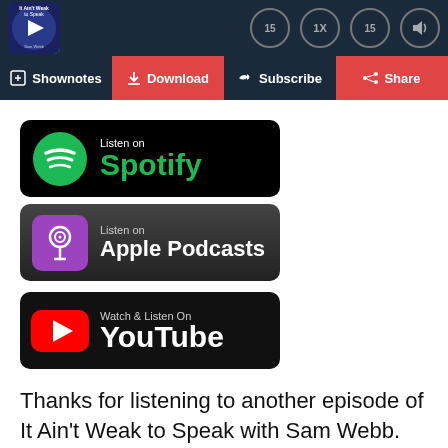[Figure (screenshot): Podcast player header with thumbnail showing 'It Ain't Weak to Speak with Sam Webb', playback controls including skip 15, 1x speed, skip 15, and volume buttons]
[Figure (screenshot): Navigation bar with four buttons: Shownotes, Download, Subscribe, Share]
[Figure (screenshot): Listen on Spotify badge - black rounded rectangle with green Spotify logo and text]
[Figure (screenshot): Listen on Apple Podcasts badge - dark rounded rectangle with purple Apple Podcasts icon]
[Figure (screenshot): Watch & Listen On YouTube badge - black rounded rectangle with red YouTube logo]
Thanks for listening to another episode of It Ain't Weak to Speak with Sam Webb. Please rate the podcast and leave a review if you